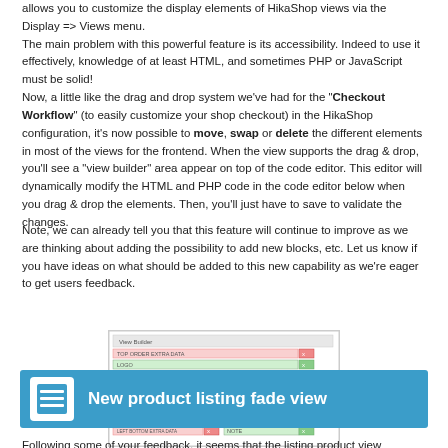allows you to customize the display elements of HikaShop views via the Display => Views menu.
The main problem with this powerful feature is its accessibility. Indeed to use it effectively, knowledge of at least HTML, and sometimes PHP or JavaScript must be solid!
Now, a little like the drag and drop system we've had for the "Checkout Workflow" (to easily customize your shop checkout) in the HikaShop configuration, it's now possible to move, swap or delete the different elements in most of the views for the frontend. When the view supports the drag & drop, you'll see a "view builder" area appear on top of the code editor. This editor will dynamically modify the HTML and PHP code in the code editor below when you drag & drop the elements. Then, you'll just have to save to validate the changes.
Note, we can already tell you that this feature will continue to improve as we are thinking about adding the possibility to add new blocks, etc. Let us know if you have ideas on what should be added to this new capability as we're eager to get users feedback.
[Figure (screenshot): Screenshot of a view builder UI showing colored rows with labels and delete buttons]
New product listing fade view
Following some of your feedback, it seems that the listing product view